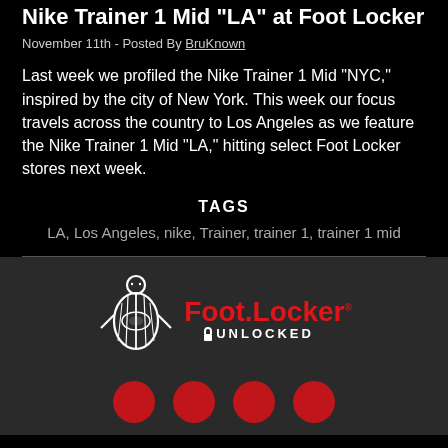Nike Trainer 1 Mid "LA" at Foot Locker
November 11th - Posted By BruKnown
Last week we profiled the Nike Trainer 1 Mid "NYC," inspired by the city of New York. This week our focus travels across the country to Los Angeles as we feature the Nike Trainer 1 Mid "LA," hitting select Foot Locker stores next week.
TAGS
LA, Los Angeles, nike, Trainer, trainer 1, trainer 1 mid
[Figure (logo): Foot Locker Unlocked logo with referee figure and red text]
[Figure (other): Row of partial red social media icon circles at bottom]